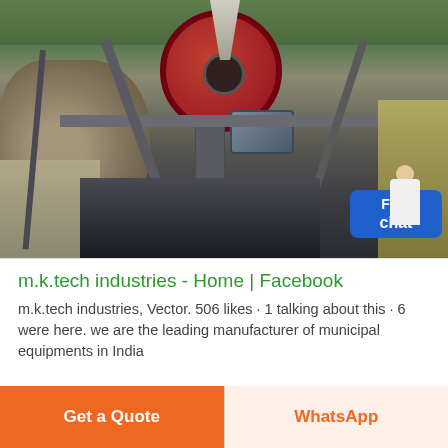[Figure (photo): Industrial crushing/mining machinery with large red flywheel, motor, steel frame structure, conveyor, and stone wall/rocks visible in background with trees at top. A 'Free chat' widget with avatar is overlaid in the bottom-right of the image.]
m.k.tech industries - Home | Facebook
m.k.tech industries, Vector. 506 likes · 1 talking about this · 6 were here. we are the leading manufacturer of municipal equipments in India
Get a Quote
WhatsApp